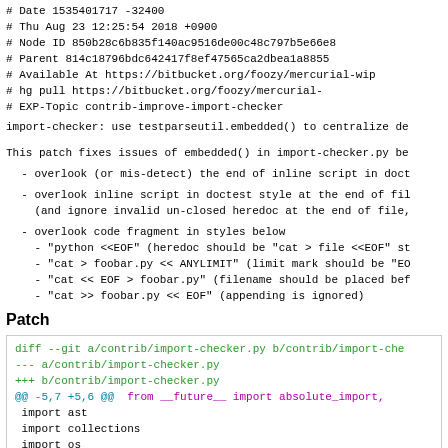# Date 1535401717 -32400
#      Thu Aug 23 12:25:54 2018 +0900
# Node ID 850b28c6b835f140ac9516de00c48c797b5e66e8
# Parent  814c18796bdc642417f8ef47565ca2dbea1a8855
# Available At https://bitbucket.org/foozy/mercurial-wip
#              hg pull https://bitbucket.org/foozy/mercurial-
# EXP-Topic contrib-improve-import-checker
import-checker: use testparseutil.embedded() to centralize de
This patch fixes issues of embedded() in import-checker.py be
- overlook (or mis-detect) the end of inline script in doct
- overlook inline script in doctest style at the end of fil
  (and ignore invalid un-closed heredoc at the end of file,
- overlook code fragment in styles below
  - "python <<EOF" (heredoc should be "cat > file <<EOF" st
  - "cat > foobar.py << ANYLIMIT" (limit mark should be "EO
  - "cat << EOF > foobar.py" (filename should be placed bef
  - "cat >> foobar.py << EOF" (appending is ignored)
Patch
diff --git a/contrib/import-checker.py b/contrib/import-che
--- a/contrib/import-checker.py
+++ b/contrib/import-checker.py
@@ -5,7 +5,6 @@  from __future__ import absolute_import,
 import ast
 import collections
 import os